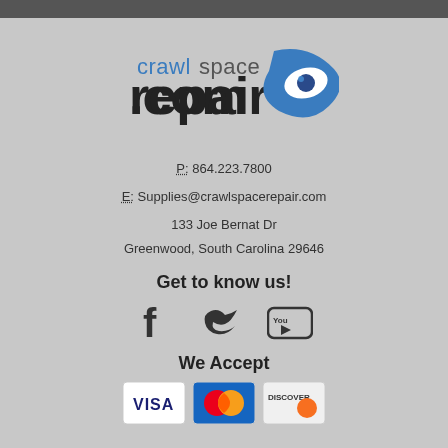[Figure (logo): CrawlSpace Repair .com logo with blue swirl graphic]
P: 864.223.7800
E: Supplies@crawlspacerepair.com
133 Joe Bernat Dr
Greenwood, South Carolina 29646
Get to know us!
[Figure (illustration): Social media icons: Facebook, Twitter, YouTube]
We Accept
[Figure (illustration): Payment method icons: Visa, Mastercard, Discover]